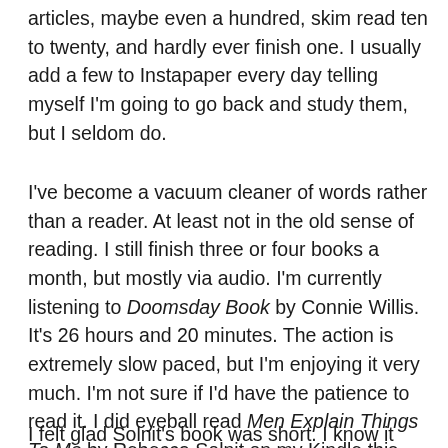articles, maybe even a hundred, skim read ten to twenty, and hardly ever finish one. I usually add a few to Instapaper every day telling myself I'm going to go back and study them, but I seldom do.
I've become a vacuum cleaner of words rather than a reader. At least not in the old sense of reading. I still finish three or four books a month, but mostly via audio. I'm currently listening to Doomsday Book by Connie Willis. It's 26 hours and 20 minutes. The action is extremely slow paced, but I'm enjoying it very much. I'm not sure if I'd have the patience to read it. I did eyeball read Men Explain Things To Me by Rebecca Solnit on my Kindle this week, but it was a mere 130 pages.
I felt glad Solnit's book was short. I know it was meant to be a...